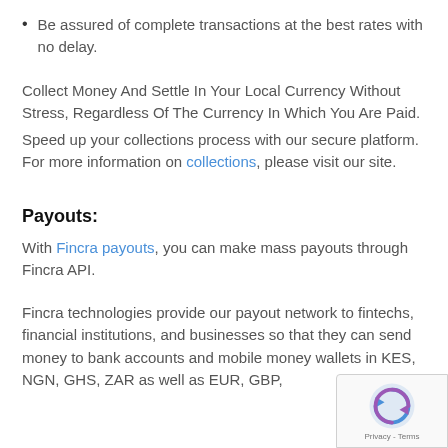Be assured of complete transactions at the best rates with no delay.
Collect Money And Settle In Your Local Currency Without Stress, Regardless Of The Currency In Which You Are Paid.
Speed up your collections process with our secure platform. For more information on collections, please visit our site.
Payouts:
With Fincra payouts, you can make mass payouts through Fincra API.
Fincra technologies provide our payout network to fintechs, financial institutions, and businesses so that they can send money to bank accounts and mobile money wallets in KES, NGN, GHS, ZAR as well as EUR, GBP,